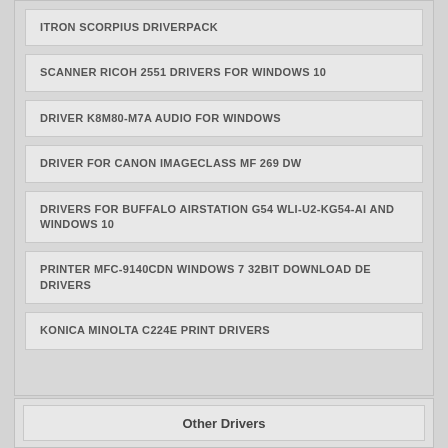ITRON SCORPIUS DRIVERPACK
SCANNER RICOH 2551 DRIVERS FOR WINDOWS 10
DRIVER K8M80-M7A AUDIO FOR WINDOWS
DRIVER FOR CANON IMAGECLASS MF 269 DW
DRIVERS FOR BUFFALO AIRSTATION G54 WLI-U2-KG54-AI AND WINDOWS 10
PRINTER MFC-9140CDN WINDOWS 7 32BIT DOWNLOAD DE DRIVERS
KONICA MINOLTA C224E PRINT DRIVERS
Other Drivers